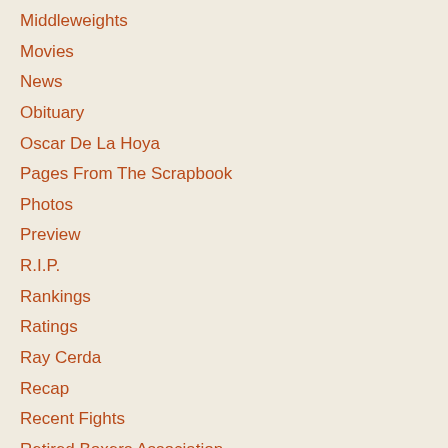Middleweights
Movies
News
Obituary
Oscar De La Hoya
Pages From The Scrapbook
Photos
Preview
R.I.P.
Rankings
Ratings
Ray Cerda
Recap
Recent Fights
Retired Boxers Association